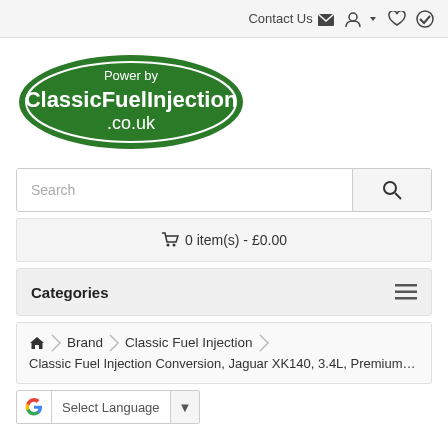Contact Us  (icon: envelope) (icon: user dropdown) (icon: heart) (icon: checkmark)
[Figure (logo): Oval green logo with white text: 'Power by ClassicFuelInjection.co.uk']
Search
🛒 0 item(s) - £0.00
Categories ≡
🏠 > Brand > Classic Fuel Injection > Classic Fuel Injection Conversion, Jaguar XK140, 3.4L, Premium Kit
G Select Language ▼